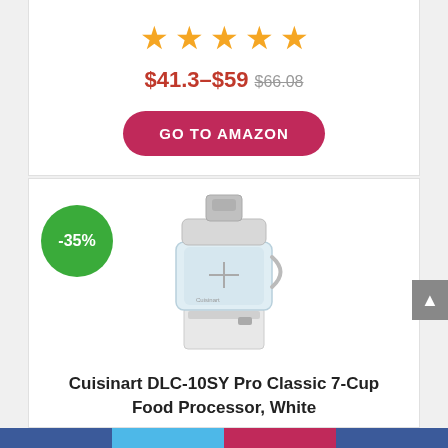[Figure (other): Five orange star rating icons]
$41.3–$59 $66.08
GO TO AMAZON
[Figure (photo): Cuisinart DLC-10SY Pro Classic 7-Cup Food Processor in white, with a -35% green discount badge overlay]
Cuisinart DLC-10SY Pro Classic 7-Cup Food Processor, White
[Figure (other): Five orange star rating icons]